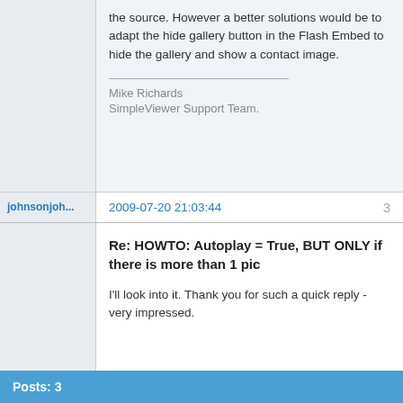the source. However a better solutions would be to adapt the hide gallery button in the Flash Embed to hide the gallery and show a contact image.
Mike Richards
SimpleViewer Support Team.
johnsonjoh...
2009-07-20 21:03:44
3
Re: HOWTO: Autoplay = True, BUT ONLY if there is more than 1 pic
I'll look into it. Thank you for such a quick reply - very impressed.
Posts: 3